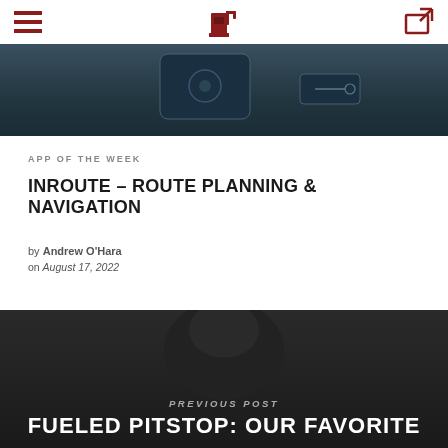Navigation bar with hamburger menu, fuel pump logo, and share icon
[Figure (photo): Dark dashboard/car interior photo showing a smartphone and car controls]
APP OF THE WEEK
INROUTE – ROUTE PLANNING & NAVIGATION
by Andrew O'Hara
on August 17, 2022
PREVIOUS POST
FUELED PITSTOP: OUR FAVORITE